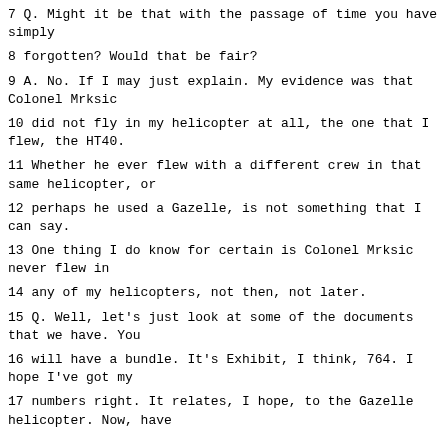7 Q. Might it be that with the passage of time you have simply
8 forgotten? Would that be fair?
9 A. No. If I may just explain. My evidence was that Colonel Mrksic
10 did not fly in my helicopter at all, the one that I flew, the HT40.
11 Whether he ever flew with a different crew in that same helicopter, or
12 perhaps he used a Gazelle, is not something that I can say.
13 One thing I do know for certain is Colonel Mrksic never flew in
14 any of my helicopters, not then, not later.
15 Q. Well, let's just look at some of the documents that we have. You
16 will have a bundle. It's Exhibit, I think, 764. I hope I've got my
17 numbers right. It relates, I hope, to the Gazelle helicopter. Now, have